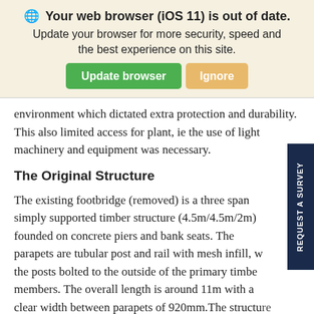[Figure (screenshot): Browser update warning banner with green 'Update browser' button and orange 'Ignore' button on a cream/beige background. Title reads 'Your web browser (iOS 11) is out of date.' with subtitle 'Update your browser for more security, speed and the best experience on this site.']
environment which dictated extra protection and durability.  This also limited access for plant, ie the use of light machinery and equipment was necessary.
The Original Structure
The existing footbridge (removed) is a three span simply supported timber structure (4.5m/4.5m/2m) founded on concrete piers and bank seats. The parapets are tubular post and rail with mesh infill, with the posts bolted to the outside of the primary timber members. The overall length is around 11m with a clear width between parapets of 920mm.The structure is being replaced as it is starting to deteriorate, and maintenance is not considered to be economica
The Replacement Structure